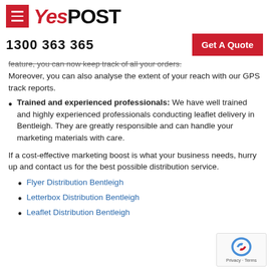YesPOST — 1300 363 365 | Get A Quote
are trained to practice leaflet distribution in Bentleigh in this manner, leaflet delivery is increasingly visible.
GPS Tracking service: With our GPS tracking feature, you can now keep track of all your orders. Moreover, you can also analyse the extent of your reach with our GPS track reports.
Trained and experienced professionals: We have well trained and highly experienced professionals conducting leaflet delivery in Bentleigh. They are greatly responsible and can handle your marketing materials with care.
If a cost-effective marketing boost is what your business needs, hurry up and contact us for the best possible distribution service.
Flyer Distribution Bentleigh
Letterbox Distribution Bentleigh
Leaflet Distribution Bentleigh